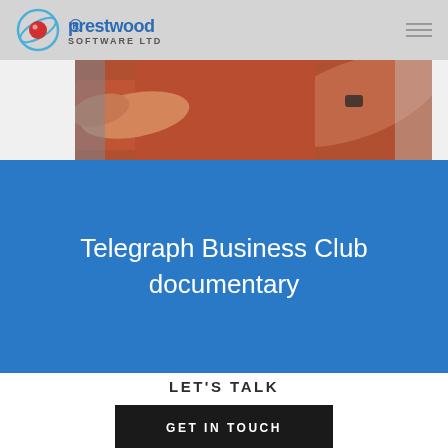Prestwood Software Ltd
[Figure (photo): Photo of a person in a red/pink shirt reaching out, partially cropped]
Telegraph Business Club documentary
LET'S TALK
GET IN TOUCH